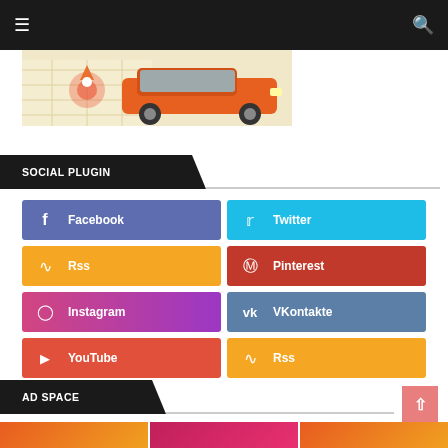Navigation bar with menu and search icons
[Figure (photo): Orange SUV car with location pin map graphic on the side, showing a branded vehicle wrap advertisement]
SOCIAL PLUGIN
Facebook
Twitter
Rss
Pinterest
Instagram
VKontakte
YouTube
Rss
AD SPACE
[Figure (photo): Colorful advertisement banner strip at bottom of page with orange, pink/red and orange gradient segments]